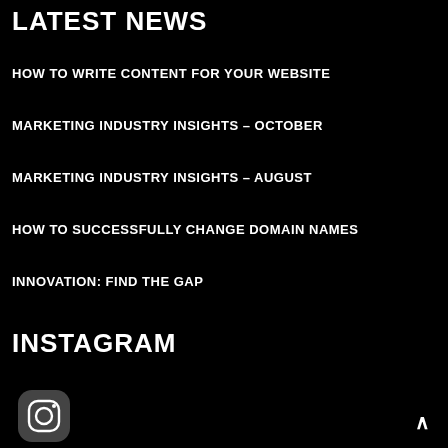LATEST NEWS
HOW TO WRITE CONTENT FOR YOUR WEBSITE
MARKETING INDUSTRY INSIGHTS – OCTOBER
MARKETING INDUSTRY INSIGHTS – AUGUST
HOW TO SUCCESSFULLY CHANGE DOMAIN NAMES
INNOVATION: FIND THE GAP
INSTAGRAM
[Figure (logo): Instagram icon logo in a dark rounded square]